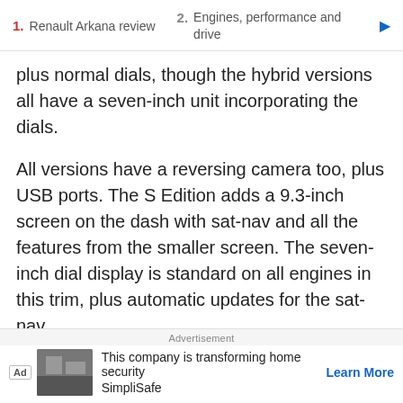1. Renault Arkana review  2. Engines, performance and drive
plus normal dials, though the hybrid versions all have a seven-inch unit incorporating the dials.
All versions have a reversing camera too, plus USB ports. The S Edition adds a 9.3-inch screen on the dash with sat-nav and all the features from the smaller screen. The seven-inch dial display is standard on all engines in this trim, plus automatic updates for the sat-nav.
We like the high-res screen but the graphics it uses don't
Advertisement
This company is transforming home security SimplliSafe  Learn More